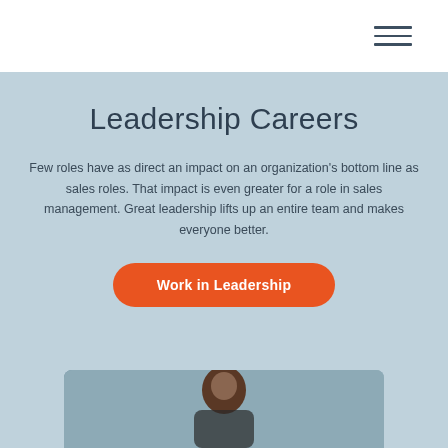Leadership Careers
Few roles have as direct an impact on an organization's bottom line as sales roles. That impact is even greater for a role in sales management. Great leadership lifts up an entire team and makes everyone better.
Work in Leadership
[Figure (photo): Photo of a person partially visible at the bottom of the page against a light blue background]